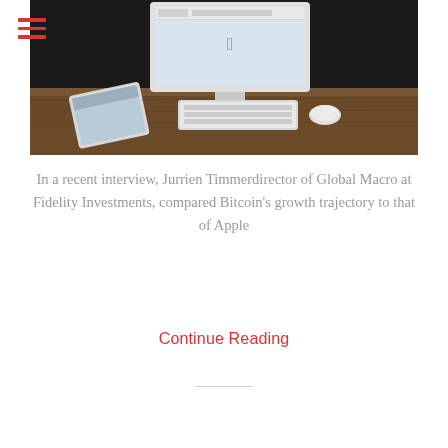[Figure (photo): Photo of an iMac desktop computer on a wooden desk with a keyboard, mouse, and tablet/iPad in front of it, dark background]
In a recent interview, Jurrien Timmerdirector of Global Macro at Fidelity Investments, compared Bitcoin's growth trajectory to that of Apple
Continue Reading